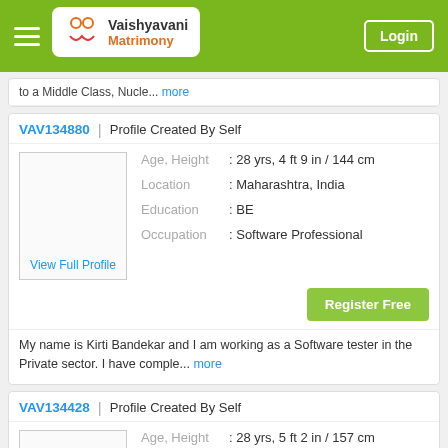Vaishyavani Matrimony | Login
to a Middle Class, Nucle... more
VAV134880 | Profile Created By Self
Age, Height : 28 yrs, 4 ft 9 in / 144 cm
Location : Maharashtra, India
Education : BE
Occupation : Software Professional
View Full Profile
Register Free
My name is Kirti Bandekar and I am working as a Software tester in the Private sector. I have comple... more
VAV134428 | Profile Created By Self
Age, Height : 28 yrs, 5 ft 2 in / 157 cm
Location : Maharashtra, India